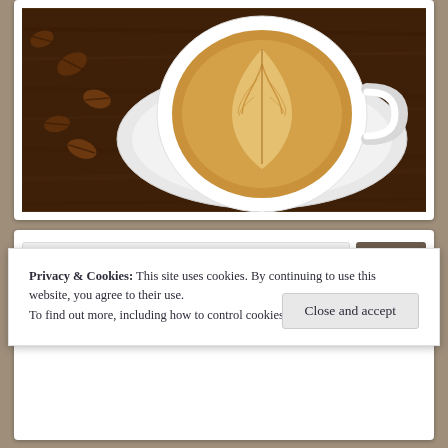[Figure (photo): Top-down view of a latte with latte art (leaf/flower pattern) in a white cup and saucer, on a dark wooden table with coffee beans scattered nearby.]
Privacy & Cookies: This site uses cookies. By continuing to use this website, you agree to their use.
To find out more, including how to control cookies, see here: Cookie Policy